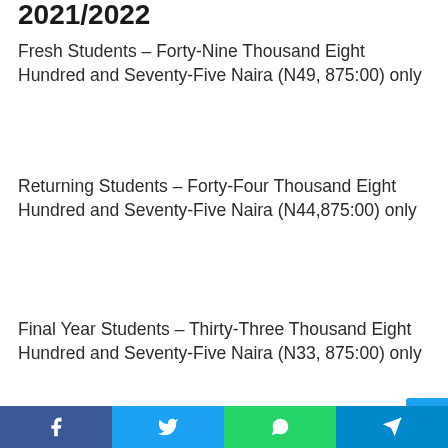2021/2022
Fresh Students – Forty-Nine Thousand Eight Hundred and Seventy-Five Naira (N49, 875:00) only
Returning Students – Forty-Four Thousand Eight Hundred and Seventy-Five Naira (N44,875:00) only
Final Year Students – Thirty-Three Thousand Eight Hundred and Seventy-Five Naira (N33, 875:00) only
Fresh MBBS Students – Seventy-six Thousand Eight Hundred and Sevent,